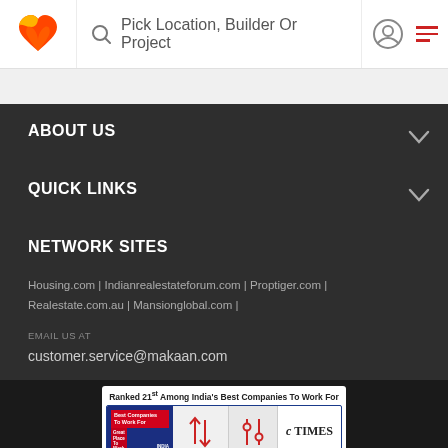Pick Location, Builder Or Project
ABOUT US
QUICK LINKS
NETWORK SITES
Housing.com | Indianrealestateforum.com | Proptiger.com | Realestate.com.au | Mansionglobal.com |
EMAIL US AT
customer.service@makaan.com
[Figure (screenshot): Award badge: Ranked 21st Among India's Best Companies To Work For. Shows Best Companies To Work For logo with Great Place To Work India 2022, alongside sort and filter icons, and Economic Times logo.]